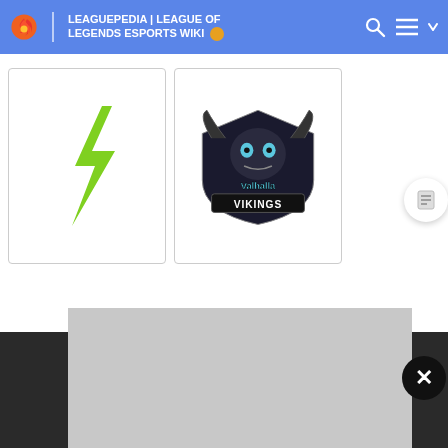LEAGUEPEDIA | LEAGUE OF LEGENDS ESPORTS WIKI
[Figure (logo): Green lightning bolt logo on white card]
[Figure (logo): Valhalla Vikings esports team logo on white card]
[Figure (screenshot): Gray advertisement or content placeholder block]
[Figure (screenshot): Dark footer bar with white rounded rectangle and close button]